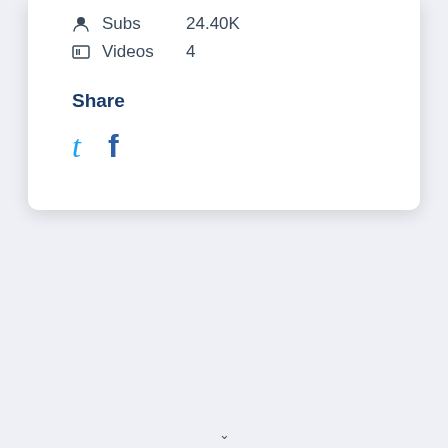Subs  24.40K
Videos  4
Share
[Figure (infographic): Twitter (t) and Facebook (f) social share icons displayed side by side]